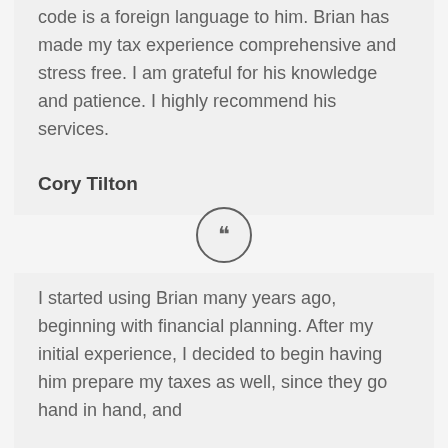…code is a foreign language to him. Brian has made my tax experience comprehensive and stress free. I am grateful for his knowledge and patience. I highly recommend his services.
Cory Tilton
[Figure (other): Quotation mark icon inside a circle]
I started using Brian many years ago, beginning with financial planning. After my initial experience, I decided to begin having him prepare my taxes as well, since they go hand in hand, and